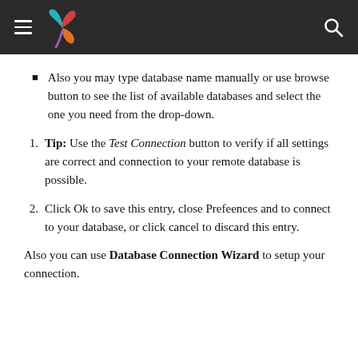Also you may type database name manually or use browse button to see the list of available databases and select the one you need from the drop-down.
Tip: Use the Test Connection button to verify if all settings are correct and connection to your remote database is possible.
Click Ok to save this entry, close Prefeences and to connect to your database, or click cancel to discard this entry.
Also you can use Database Connection Wizard to setup your connection.